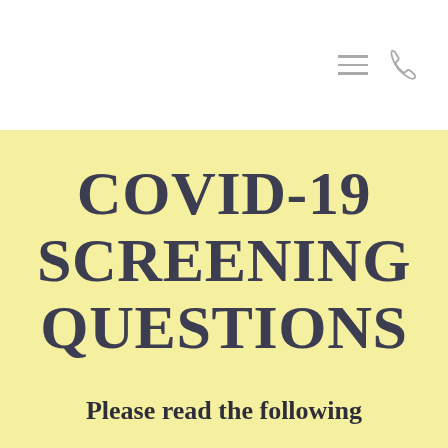COVID-19 SCREENING QUESTIONS
Please read the following